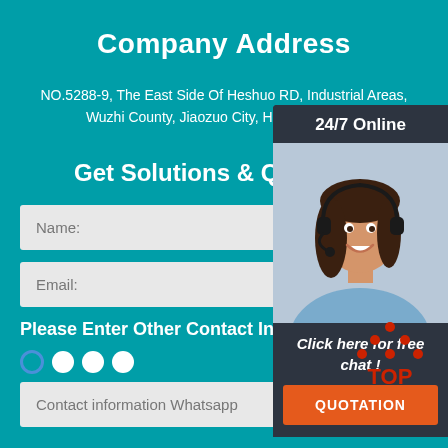Company Address
NO.5288-9, The East Side Of Heshuo RD, Industrial Areas, Wuzhi County, Jiaozuo City, Henan Province
Get Solutions & Quotation
Name:
Email:
Please Enter Other Contact Information
Contact information Whatsapp
[Figure (photo): Chat support widget showing a woman with headset, '24/7 Online' header, 'Click here for free chat !' text, and an orange QUOTATION button]